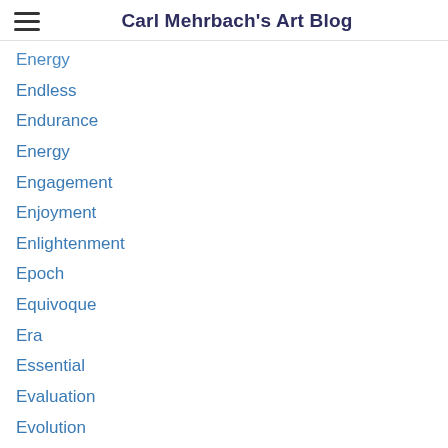Carl Mehrbach's Art Blog
Energy
Endless
Endurance
Energy
Engagement
Enjoyment
Enlightenment
Epoch
Equivoque
Era
Essential
Evaluation
Evolution
Excellence
Exhaustion
Exhibition
Expectation
Experiential
Experimentation